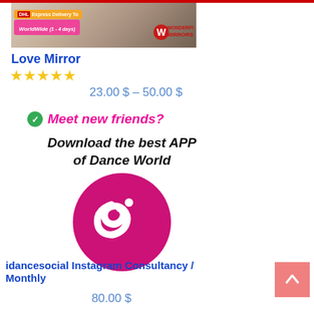[Figure (photo): Product photo of Love Mirror with DHL Express Delivery WorldWide badge and Wonderful Mirrors logo]
Love Mirror
★★★★★
23.00 $ – 50.00 $
✔ Meet new friends?
[Figure (logo): Download the best APP of Dance World with idancesocial logo - pink circle with stylized 'is' letters]
idancesocial Instagram Consultancy / Monthly
80.00 $